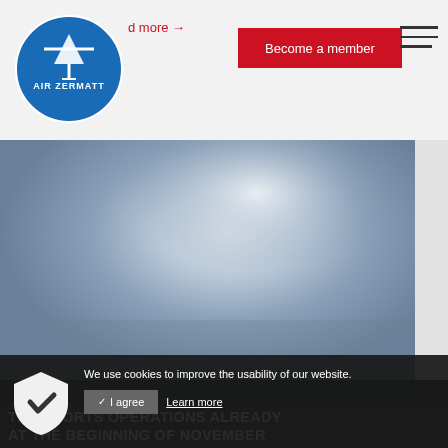read more → | Become a member
[Figure (photo): Blurred blue-grey sky/mountain aerial photograph used as hero image for Air Zermatt website]
We use cookies to improve the usability of our website.
✓ I agree  Learn more
TER SPORTS OPERATIONS ALREADY AT THE BEGINNING OF NOVEMBER